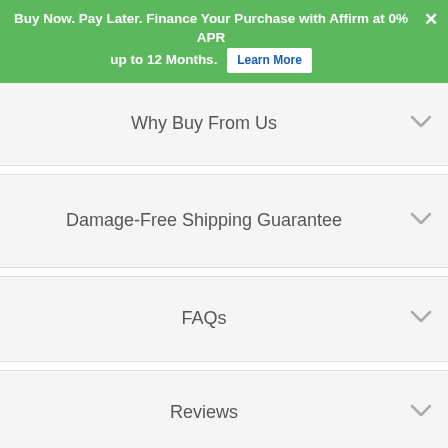Buy Now. Pay Later. Finance Your Purchase with Affirm at 0% APR up to 12 Months. Learn More
Why Buy From Us
Damage-Free Shipping Guarantee
FAQs
Reviews
★★★★★ Customers rate us 4.8/5 based on 759 reviews.
[Figure (illustration): Circular stamp logo with text LOWEST PRICE PROMISE in grey]
Tired of Searching? Eco Fishing Shop will match or beat all competitor prices or we refund the difference. That is our Price Match Guarantee!